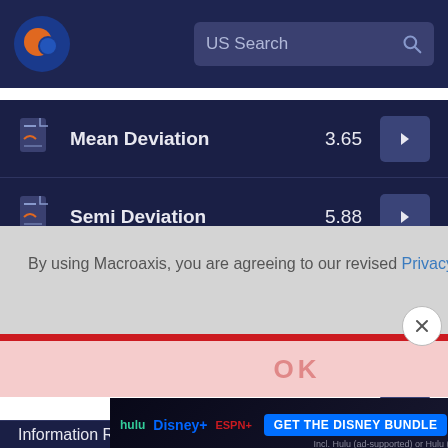[Figure (screenshot): Macroaxis website header with logo (orange and blue globe icon) on dark navy background and US Search bar on right]
Mean Deviation  3.65
Semi Deviation  5.88
Downside Deviation  6.25
By using Macroaxis, you are agreeing to our revised Privacy Policy
OK
[Figure (screenshot): Disney Bundle advertisement banner: hulu, Disney+, ESPN+. GET THE DISNEY BUNDLE. Incl. Hulu (ad-supported) or Hulu (No Ads). Access content from each service separately. ©2021 Disney and its related entities.]
Information Ratio